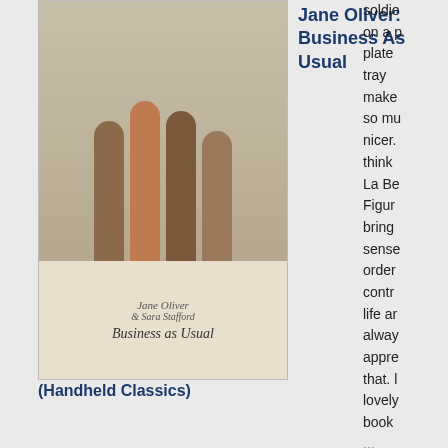[Figure (photo): Book cover for Jane Oliver: Business As Usual (Handheld Classics)]
Jane Oliver: Business As Usual
(Handheld Classics)
[Figure (photo): Book cover for Linda Castillo: Outsider]
Linda Castillo: Outsider
[Figure (photo): Book cover for Val McDermid: Killing the Shadows]
Val
soldier on a plate tray makes so much nicer. think La Be Figure brings sense order contro life ar always appre that. lovely book ...
Reply
31 May 2018 at